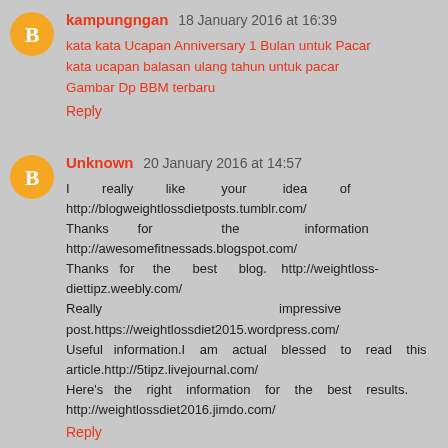kampungngan 18 January 2016 at 16:39
kata kata Ucapan Anniversary 1 Bulan untuk Pacar
kata ucapan balasan ulang tahun untuk pacar
Gambar Dp BBM terbaru
Reply
Unknown 20 January 2016 at 14:57
I really like your idea of http://blogweightlossdietposts.tumblr.com/ Thanks for the information http://awesomefitnessads.blogspot.com/ Thanks for the best blog. http://weightloss-diettipz.weebly.com/ Really impressive post.https://weightlossdiet2015.wordpress.com/ Useful information.I am actual blessed to read this article.http://5tipz.livejournal.com/ Here's the right information for the best results. http://weightlossdiet2016.jimdo.com/
Reply